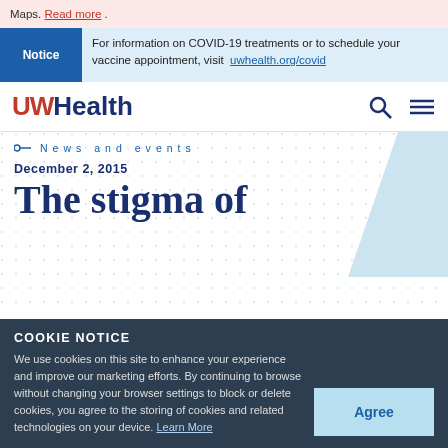Maps. Read more
For information on COVID-19 treatments or to schedule your vaccine appointment, visit uwhealth.org/covid
[Figure (logo): UWHealth logo with UW in red and Health in dark navy blue]
News and events
December 2, 2015
The stigma of sexually transmitted diseases
COOKIE NOTICE
We use cookies on this site to enhance your experience and improve our marketing efforts. By continuing to browse without changing your browser settings to block or delete cookies, you agree to the storing of cookies and related technologies on your device. Learn More